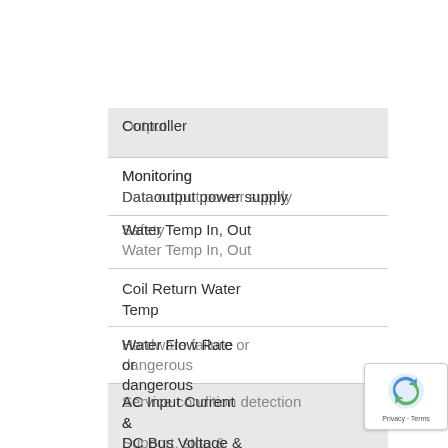Controller / Output
Monitoring / Data output power supply
Safety / Water Temp In, Out
Coil Return Water Temp
Hardware failure or dangerous condition detection & Support / Water Flow Rate
Service / AC Input Current & DC Bus Voltage & button/electric / Upgrades/Heat
[Figure (logo): Google reCAPTCHA badge with Privacy and Terms text]